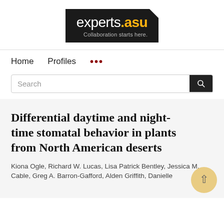[Figure (logo): experts.asu logo — black background with white text 'experts' and gold '.asu', tagline 'Collaboration starts here.' in grey, with a white notch cut at top-right corner]
Home   Profiles   ...
Search
Differential daytime and night-time stomatal behavior in plants from North American deserts
Kiona Ogle, Richard W. Lucas, Lisa Patrick Bentley, Jessica M. Cable, Greg A. Barron-Gafford, Alden Griffith, Danielle